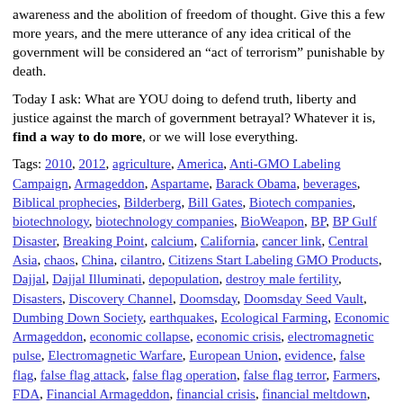awareness and the abolition of freedom of thought. Give this a few more years, and the mere utterance of any idea critical of the government will be considered an “act of terrorism” punishable by death.
Today I ask: What are YOU doing to defend truth, liberty and justice against the march of government betrayal? Whatever it is, find a way to do more, or we will lose everything.
Tags: 2010, 2012, agriculture, America, Anti-GMO Labeling Campaign, Armageddon, Aspartame, Barack Obama, beverages, Biblical prophecies, Bilderberg, Bill Gates, Biotech companies, biotechnology, biotechnology companies, BioWeapon, BP, BP Gulf Disaster, Breaking Point, calcium, California, cancer link, Central Asia, chaos, China, cilantro, Citizens Start Labeling GMO Products, Dajjal, Dajjal Illuminati, depopulation, destroy male fertility, Disasters, Discovery Channel, Doomsday, Doomsday Seed Vault, Dumbing Down Society, earthquakes, Ecological Farming, Economic Armageddon, economic collapse, economic crisis, electromagnetic pulse, Electromagnetic Warfare, European Union, evidence, false flag, false flag attack, false flag operation, false flag terror, Farmers, FDA, Financial Armageddon, financial crisis, financial meltdown, fire, Floods, Fluoride, Food Companies, food control, food crisis, Food Poisoning, FOOD RIOTS, food shortages, food stamps, foods, garlic, gas explosion, Genetic